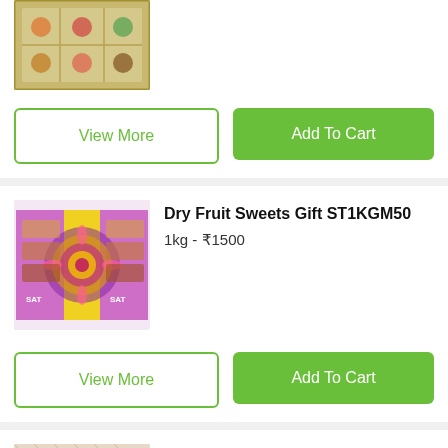[Figure (photo): Gift box with sweets/dry fruits, partially visible at top]
View More
Add To Cart
Dry Fruit Sweets Gift ST1KGM50
1kg - ₹1500
[Figure (photo): Dry Fruit Sweets Gift box with purple and yellow decorative packaging]
View More
Add To Cart
Dry Fruit Sweets 450g Gift Pack of 2 STDFSGP1
900g - ₹1350
[Figure (photo): Dry Fruit Sweets 450g Gift Pack box, partially visible at bottom]